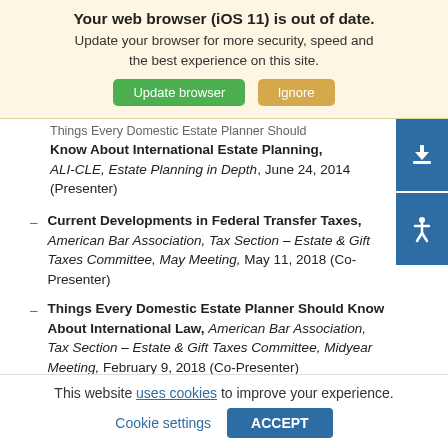Your web browser (iOS 11) is out of date. Update your browser for more security, speed and the best experience on this site.
Things Every Domestic Estate Planner Should Know About International Estate Planning, ALI-CLE, Estate Planning in Depth, June 24, 2014 (Presenter)
Current Developments in Federal Transfer Taxes, American Bar Association, Tax Section – Estate & Gift Taxes Committee, May Meeting, May 11, 2018 (Co-Presenter)
Things Every Domestic Estate Planner Should Know About International Law, American Bar Association, Tax Section – Estate & Gift Taxes Committee, Midyear Meeting, February 9, 2018 (Co-Presenter)
This website uses cookies to improve your experience.